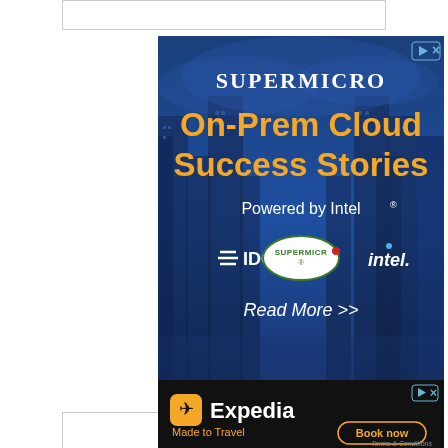[Figure (illustration): Supermicro advertisement banner: dark blue background with city/server building skyline. Text reads 'SUPERMICRO' in white serif font, 'On-Prem Cloud Success Stories' in large orange bold font, 'Powered by Intel®' in white, logos for IDC, Supermicro, and intel., and 'Read More >>' in white italic. Ad indicator icons top right. Ezoic branding and 'report this ad' text below.]
[Figure (illustration): Expedia advertisement banner: black background. Expedia logo with yellow/orange rounded square icon with plane symbol and white 'Expedia' text. Tagline 'Made to Travel' in yellow. 'Book now' button with yellow outline border. 'Terms & Conditions' in small grey italic text. Ad indicator icons top right.]